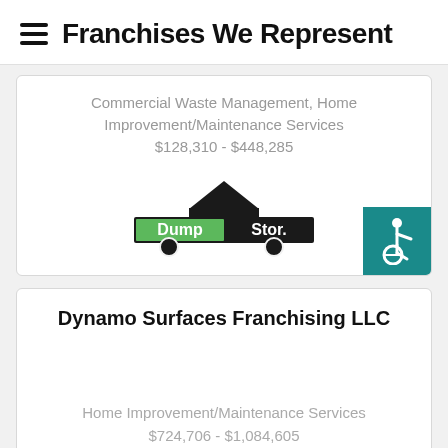Franchises We Represent
Commercial Waste Management, Home Improvement/Maintenance Services
$128,310 - $448,285
[Figure (logo): DumpStor logo with dumpster truck graphic and green/black text]
[Figure (illustration): Accessibility icon — white wheelchair user symbol on teal background]
Dynamo Surfaces Franchising LLC
Home Improvement/Maintenance Services
$724,706 - $1,084,605